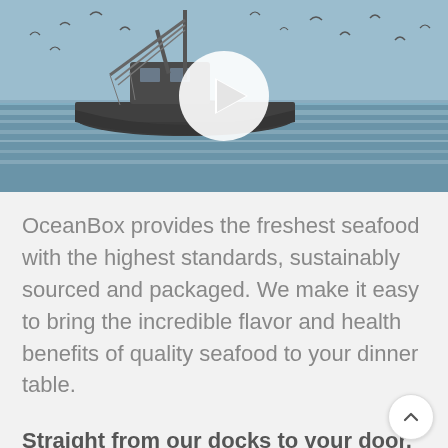[Figure (photo): A fishing trawler vessel at sea with seagulls flying overhead, shown in a muted blue-grey color palette. A white circular play button overlay is centered on the image, indicating a video thumbnail.]
OceanBox provides the freshest seafood with the highest standards, sustainably sourced and packaged. We make it easy to bring the incredible flavor and health benefits of quality seafood to your dinner table.
Straight from our docks to your door, Order Today!